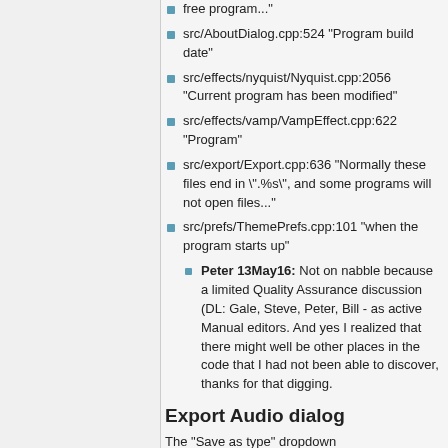src/AboutDialog.cpp:524 "Program build date"
src/effects/nyquist/Nyquist.cpp:2056 "Current program has been modified"
src/effects/vamp/VampEffect.cpp:622 "Program"
src/export/Export.cpp:636 "Normally these files end in \".%s\", and some programs will not open files..."
src/prefs/ThemePrefs.cpp:101 "when the program starts up"
Peter 13May16: Not on nabble because a limited Quality Assurance discussion (DL: Gale, Steve, Peter, Bill - as active Manual editors. And yes I realized that there might well be other places in the code that I had not been able to discover, thanks for that digging.
Export Audio dialog
The "Save as type" dropdown